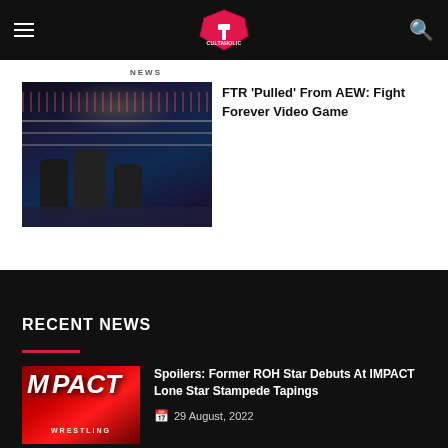Cultaholic
[Figure (photo): Wrestling ring with wrestlers, dark arena background]
FTR 'Pulled' From AEW: Fight Forever Video Game
RECENT NEWS
[Figure (photo): IMPACT Wrestling logo on red background]
Spoilers: Former ROH Star Debuts At IMPACT Lone Star Stampede Tapings
29 August, 2022